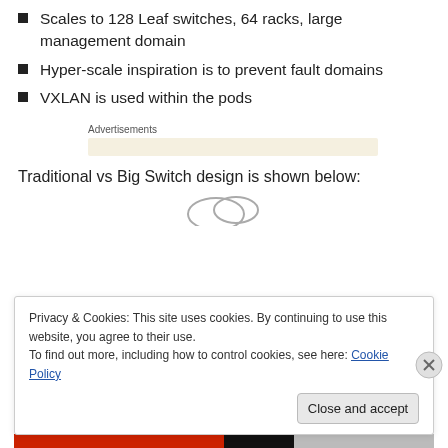Scales to 128 Leaf switches, 64 racks, large management domain
Hyper-scale inspiration is to prevent fault domains
VXLAN is used within the pods
Advertisements
Traditional vs Big Switch design is shown below:
[Figure (illustration): Partial cloud/network diagram partially visible behind cookie consent overlay]
Privacy & Cookies: This site uses cookies. By continuing to use this website, you agree to their use.
To find out more, including how to control cookies, see here: Cookie Policy
Close and accept